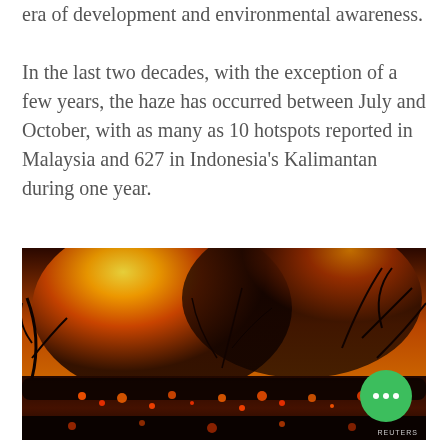era of development and environmental awareness.

In the last two decades, with the exception of a few years, the haze has occurred between July and October, with as many as 10 hotspots reported in Malaysia and 627 in Indonesia's Kalimantan during one year.
[Figure (photo): A dramatic photograph of a forest fire at night, with bright orange and yellow flames illuminating silhouettes of burning vegetation and trees. Glowing embers are visible on the ground. A Reuters watermark appears in the lower right corner. A green circular button with three white dots is overlaid in the lower right area.]